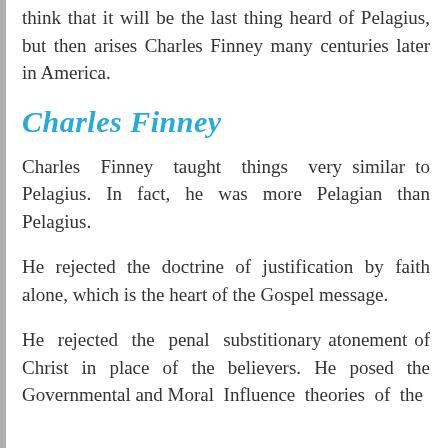think that it will be the last thing heard of Pelagius, but then arises Charles Finney many centuries later in America.
Charles Finney
Charles Finney taught things very similar to Pelagius. In fact, he was more Pelagian than Pelagius.
He rejected the doctrine of justification by faith alone, which is the heart of the Gospel message.
He rejected the penal substitionary atonement of Christ in place of the believers. He posed the Governmental and Moral Influence theories of the